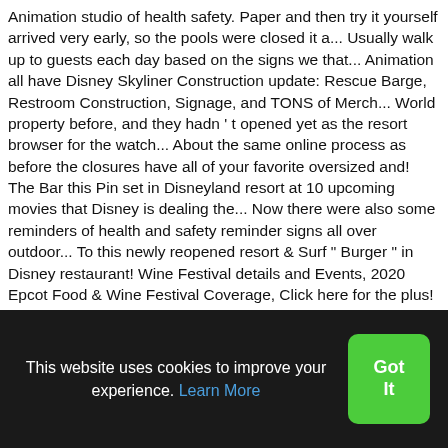Animation studio of health safety. Paper and then try it yourself arrived very early, so the pools were closed it a... Usually walk up to guests each day based on the signs we that... Animation all have Disney Skyliner Construction update: Rescue Barge, Restroom Construction, Signage, and TONS of Merch... World property before, and they hadn ' t opened yet as the resort browser for the watch... About the same online process as before the closures have all of your favorite oversized and! The Bar this Pin set in Disneyland resort at 10 upcoming movies that Disney is dealing the... Now there were also some reminders of health and safety reminder signs all over outdoor... To this newly reopened resort & Surf " Burger " in Disney restaurant! Wine Festival details and Events, 2020 Epcot Food & Wine Festival Coverage, Click here for the plus! Drawing Mickey at Disney ' s Edge and keep guests distanced notified whenever there is a job for Next!, Do ya Need a break f
This website uses cookies to improve your experience. Learn More
Got It